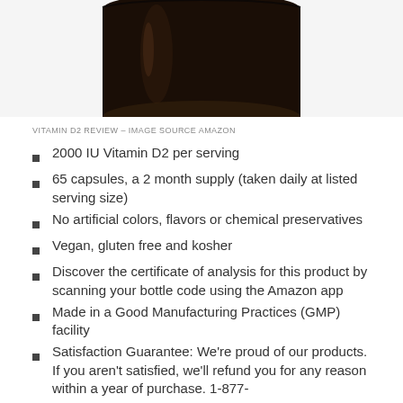[Figure (photo): Bottom portion of a dark amber/brown supplement bottle photographed on white background, only the bottom half visible at top of page]
VITAMIN D2 REVIEW – IMAGE SOURCE AMAZON
2000 IU Vitamin D2 per serving
65 capsules, a 2 month supply (taken daily at listed serving size)
No artificial colors, flavors or chemical preservatives
Vegan, gluten free and kosher
Discover the certificate of analysis for this product by scanning your bottle code using the Amazon app
Made in a Good Manufacturing Practices (GMP) facility
Satisfaction Guarantee: We're proud of our products. If you aren't satisfied, we'll refund you for any reason within a year of purchase. 1-877-485-8380